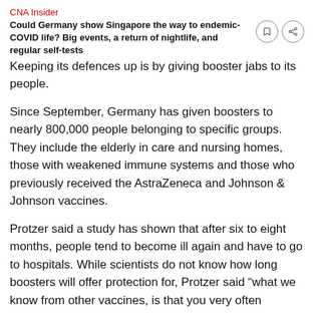CNA Insider
Could Germany show Singapore the way to endemic-COVID life? Big events, a return of nightlife, and regular self-tests
Keeping its defences up is by giving booster jabs to its people.
Since September, Germany has given boosters to nearly 800,000 people belonging to specific groups. They include the elderly in care and nursing homes, those with weakened immune systems and those who previously received the AstraZeneca and Johnson & Johnson vaccines.
Protzer said a study has shown that after six to eight months, people tend to become ill again and have to go to hospitals. While scientists do not know how long boosters will offer protection for, Protzer said “what we know from other vaccines, is that you very often